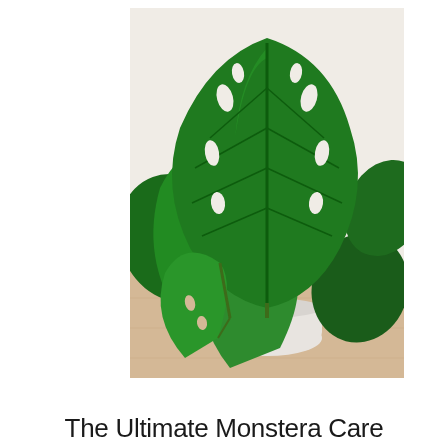[Figure (photo): A Monstera deliciosa plant with large, glossy green fenestrated leaves photographed from above at an angle. The plant is in a white pot placed on a light wood surface against a white/cream background.]
The Ultimate Monstera Care